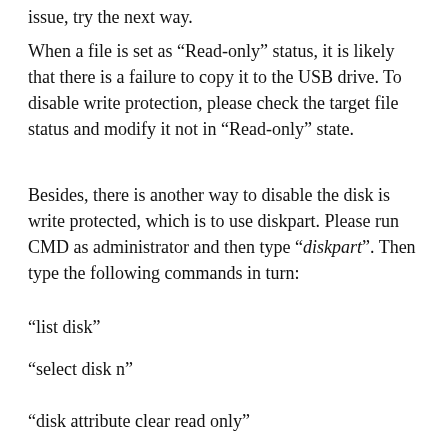issue, try the next way.
When a file is set as “Read-only” status, it is likely that there is a failure to copy it to the USB drive. To disable write protection, please check the target file status and modify it not in “Read-only” state.
Besides, there is another way to disable the disk is write protected, which is to use diskpart. Please run CMD as administrator and then type “diskpart”. Then type the following commands in turn:
“list disk”
“select disk n”
“disk attribute clear read only”